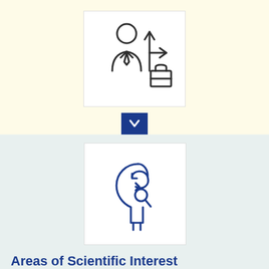[Figure (illustration): Icon of a businessperson/professional with arrows pointing up and right, and a briefcase — career growth or professional development icon, dark outline style on white background]
[Figure (illustration): Blue downward arrow button/icon on dark blue background]
[Figure (illustration): Blue icon of a human head profile with a circular arrow and a magnifying glass inside — representing areas of scientific interest or research mindset]
Areas of Scientific Interest
Structural dynamics